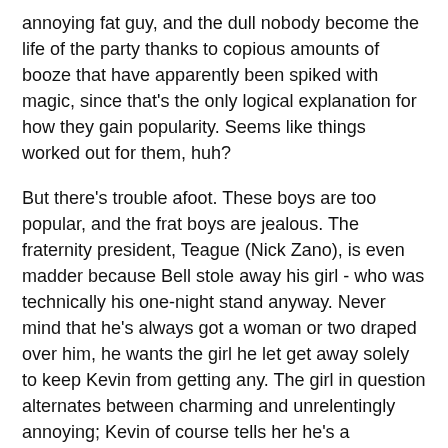annoying fat guy, and the dull nobody become the life of the party thanks to copious amounts of booze that have apparently been spiked with magic, since that's the only logical explanation for how they gain popularity. Seems like things worked out for them, huh?
But there's trouble afoot. These boys are too popular, and the frat boys are jealous. The fraternity president, Teague (Nick Zano), is even madder because Bell stole away his girl - who was technically his one-night stand anyway. Never mind that he's always got a woman or two draped over him, he wants the girl he let get away solely to keep Kevin from getting any. The girl in question alternates between charming and unrelentingly annoying; Kevin of course tells her he's a freshman so she'll speak to him (because being a freshman is sooo much better than a high school senior). When the truth finally comes out she acts like he tied her up and murdered her family in front of her. Oh no, he said he was six months older than he really was; he's not a Holocaust denier or a pedophile, for Christ's sake.
Like nearly every college film, College can't decide whether